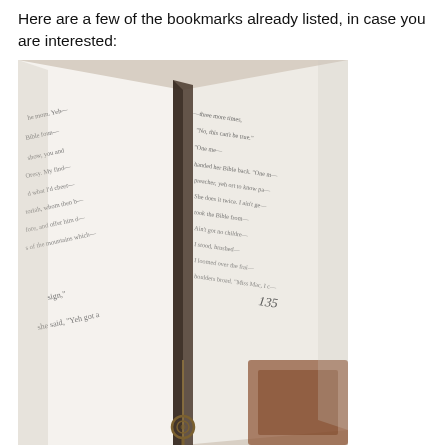Here are a few of the bookmarks already listed, in case you are interested:
[Figure (photo): An open book photographed from above showing two pages of text with a vintage brass skeleton key bookmark hanging from the spine. The left page shows partial text and the right page shows page number 135.]